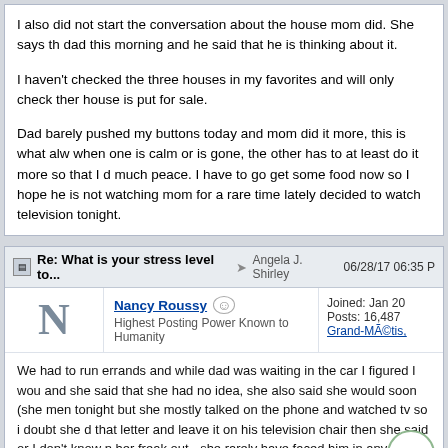I also did not start the conversation about the house mom did. She says the dad this morning and he said that he is thinking about it.
I haven't checked the three houses in my favorites and will only check them when house is put for sale.
Dad barely pushed my buttons today and mom did it more, this is what always happens when one is calm or is gone, the other has to at least do it more so that I do not have much peace. I have to go get some food now so I hope he is not watching television. And mom for a rare time lately decided to watch television tonight.
Re: What is your stress level to... → Angela J. Shirley  06/28/17 06:35 PM
Nancy Roussy  Highest Posting Power Known to Humanity  Joined: Jan 20  Posts: 16,487  Grand-MÃ©tis,
We had to run errands and while dad was waiting in the car I figured I would talk to her and she said that she had no idea, she also said she would soon (she mentioned tonight but she mostly talked on the phone and watched tv so i doubt she did) print that letter and leave it on his television chair then she said or I don't know if it made her freak out - she rarely have faced him in any way and she thinks that this would be a face off or a betrayal or something).